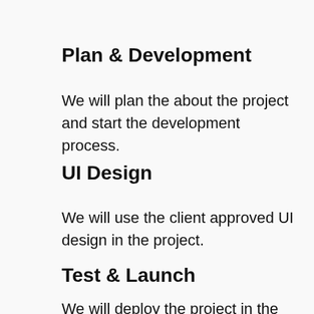Plan & Development
We will plan the about the project and start the development process.
UI Design
We will use the client approved UI design in the project.
Test & Launch
We will deploy the project in the client server after testing phase...